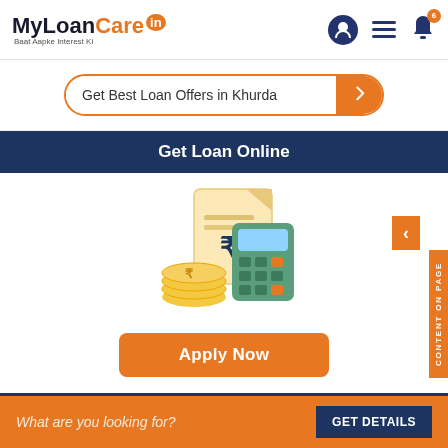[Figure (logo): MyLoanCare.in logo with tagline 'Baat Aapke Interest Ki']
Get Best Loan Offers in Khurda
Get Loan Online
[Figure (illustration): Loan illustration with calculator, document with rupee symbol, and gold coins]
Apply Now
Earn High Returns on FD
What are you looking for?
GET DETAILS